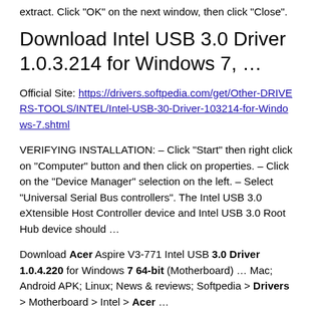extract. Click "OK" on the next window, then click "Close".
Download Intel USB 3.0 Driver 1.0.3.214 for Windows 7, …
Official Site: https://drivers.softpedia.com/get/Other-DRIVERS-TOOLS/INTEL/Intel-USB-30-Driver-103214-for-Windows-7.shtml
VERIFYING INSTALLATION: – Click "Start" then right click on "Computer" button and then click on properties. – Click on the "Device Manager" selection on the left. – Select "Universal Serial Bus controllers". The Intel USB 3.0 eXtensible Host Controller device and Intel USB 3.0 Root Hub device should …
Download Acer Aspire V3-771 Intel USB 3.0 Driver 1.0.4.220 for Windows 7 64-bit (Motherboard) … Mac; Android APK; Linux; News & reviews; Softpedia > Drivers > Motherboard > Intel > Acer …